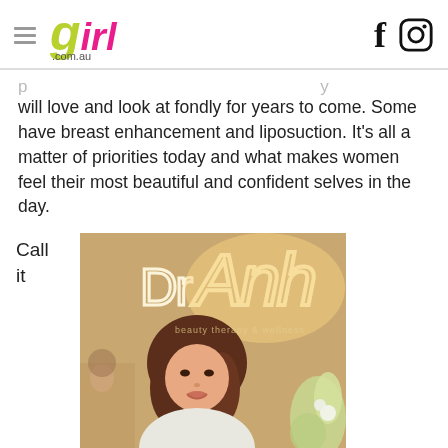girl.com.au
will love and look at fondly for years to come. Some have breast enhancement and liposuction. It's all a matter of priorities today and what makes women feel their most beautiful and confident selves in the day.
Call it
[Figure (photo): A woman with shoulder-length brown hair sits smiling in front of a backlit 'Dr Anh' clinic sign, with flowers on the right side.]